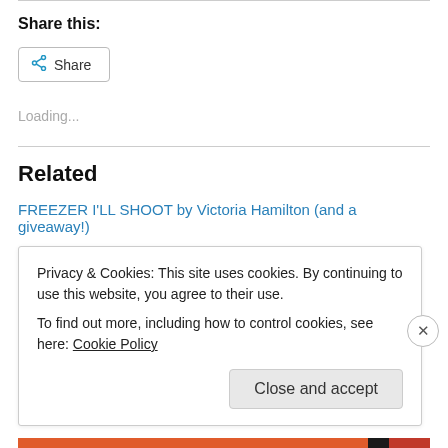Share this:
[Figure (screenshot): Share button with share icon]
Loading...
Related
FREEZER I'LL SHOOT by Victoria Hamilton (and a giveaway!)
November 2, 2013
In "Author Interviews"
Privacy & Cookies: This site uses cookies. By continuing to use this website, you agree to their use.
To find out more, including how to control cookies, see here: Cookie Policy